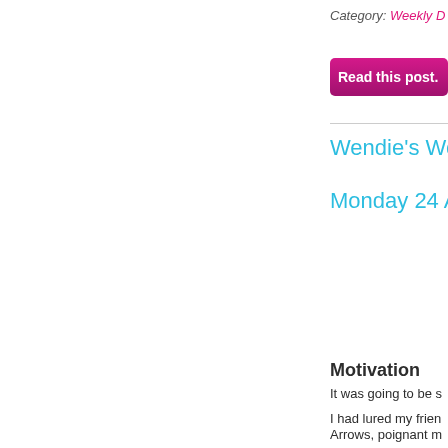Category: Weekly D
[Figure (other): Pink/magenta button labeled 'Read this post.']
Wendie's Wee
Monday 24 Au
Motivation
It was going to be s
I had lured my frien Arrows, poignant m ally and thi